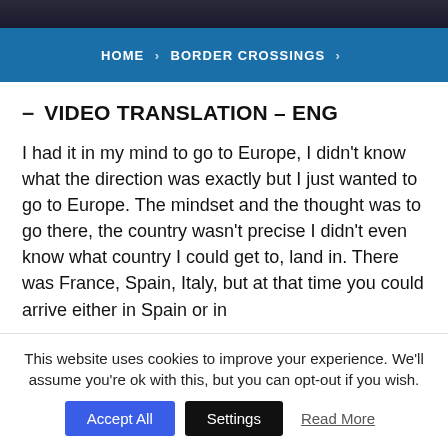[Figure (photo): Dark photo strip at the top of the page showing people, partially cropped]
HOME > BORDER CROSSINGS >
– VIDEO TRANSLATION – ENG
I had it in my mind to go to Europe, I didn't know what the direction was exactly but I just wanted to go to Europe. The mindset and the thought was to go there, the country wasn't precise I didn't even know what country I could get to, land in. There was France, Spain, Italy, but at that time you could arrive either in Spain or in
This website uses cookies to improve your experience. We'll assume you're ok with this, but you can opt-out if you wish.